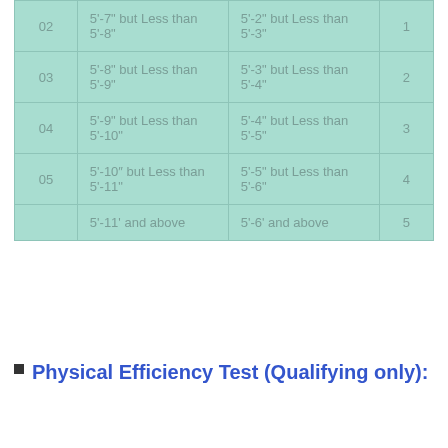| 02 | 5'-7" but Less than 5'-8" | 5'-2" but Less than 5'-3" | 1 |
| 03 | 5'-8" but Less than 5'-9" | 5'-3" but Less than 5'-4" | 2 |
| 04 | 5'-9" but Less than 5'-10" | 5'-4" but Less than 5'-5" | 3 |
| 05 | 5'-10" but Less than 5'-11" | 5'-5" but Less than 5'-6" | 4 |
|  | 5'-11' and above | 5'-6' and above | 5 |
Physical Efficiency Test (Qualifying only):